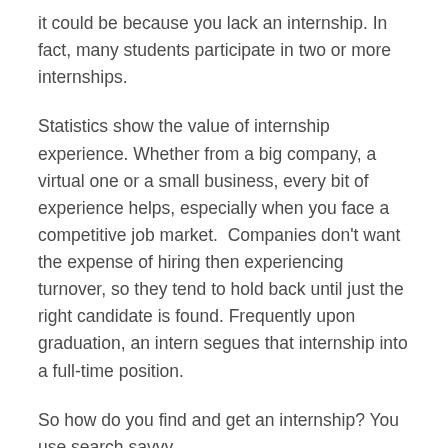it could be because you lack an internship. In fact, many students participate in two or more internships.
Statistics show the value of internship experience. Whether from a big company, a virtual one or a small business, every bit of experience helps, especially when you face a competitive job market. Companies don’t want the expense of hiring then experiencing turnover, so they tend to hold back until just the right candidate is found. Frequently upon graduation, an intern segues that internship into a full-time position.
So how do you find and get an internship? You use search savvy.
Social media platforms such as LinkedIn and Twitter offer a good place to start. Look in your industry for the companies that tweak your interest. Use #internships on Twitter and the Jobs tab with a search for Internship